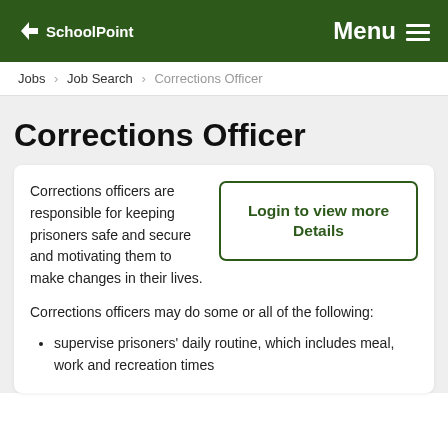SchoolPoint  Menu
Jobs › Job Search › Corrections Officer
Corrections Officer
Corrections officers are responsible for keeping prisoners safe and secure and motivating them to make changes in their lives.
Login to view more Details
Corrections officers may do some or all of the following:
supervise prisoners' daily routine, which includes meal, work and recreation times